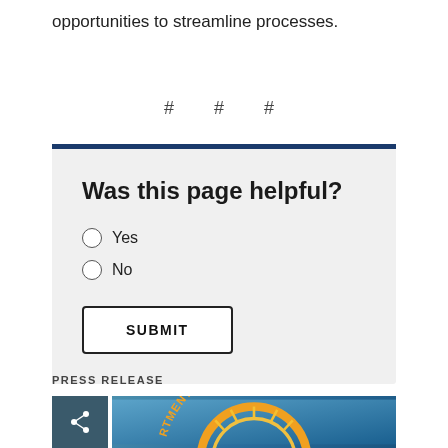opportunities to streamline processes.
# # #
Was this page helpful?
Yes
No
SUBMIT
PRESS RELEASE
[Figure (photo): Department of the (Treasury/Labor/etc.) seal with share icon button, partial view showing arc text 'RTMENT OF THE' on blue background]